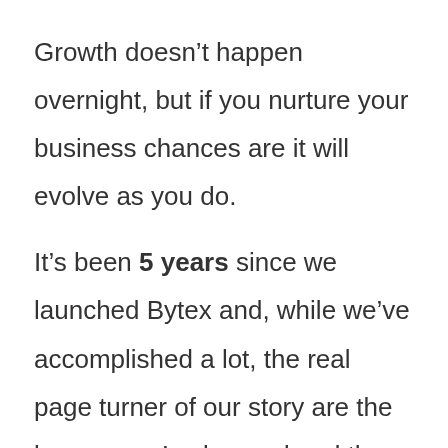Growth doesn't happen overnight, but if you nurture your business chances are it will evolve as you do.

It's been 5 years since we launched Bytex and, while we've accomplished a lot, the real page turner of our story are the lessons we've learned and the directions they've pushed us towards. Here's a few of our most important lessons and what we turned them into.